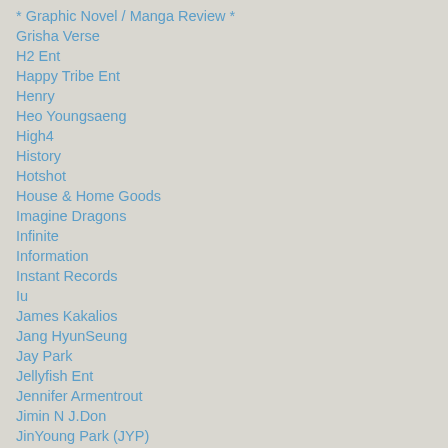* Graphic Novel / Manga Review *
Grisha Verse
H2 Ent
Happy Tribe Ent
Henry
Heo Youngsaeng
High4
History
Hotshot
House & Home Goods
Imagine Dragons
Infinite
Information
Instant Records
Iu
James Kakalios
Jang HyunSeung
Jay Park
Jellyfish Ent
Jennifer Armentrout
Jimin N J.Don
JinYoung Park (JYP)